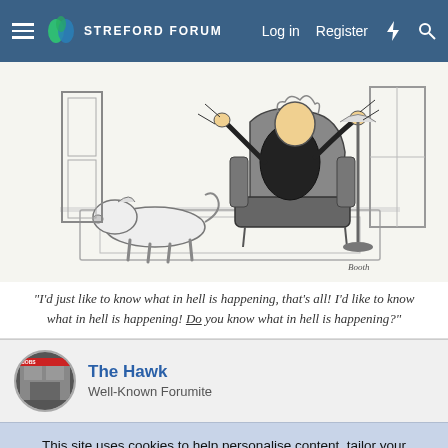Streford Forum — Log in  Register
[Figure (illustration): New Yorker-style cartoon by Booth showing a man sitting in an armchair appearing agitated, with a small dog lying on the floor. The scene is a living room interior drawn in black and white ink style.]
"I'd just like to know what in hell is happening, that's all! I'd like to know what in hell is happening! Do you know what in hell is happening?"
The Hawk — Well-Known Forumite
This site uses cookies to help personalise content, tailor your experience and to keep you logged in if you register. By continuing to use this site, you are consenting to our use of cookies.